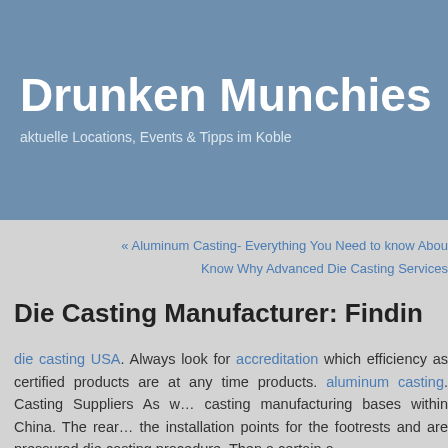Drunken Munchies
aktuelle Locations, Events & Tipps im Koblenz…
« Aluminum Casting- Everything You Need to know About…
Know Why Advanced Die Casting Services…
Die Casting Manufacturer: Finding…
die casting USA. Always look for accreditation which efficiency as certified products are at any time products. aluminum casting. Casting Suppliers As w… casting manufacturing bases within China. The rear… the installation points for the footrests and are pressured die casting procedure. Then a certain a…